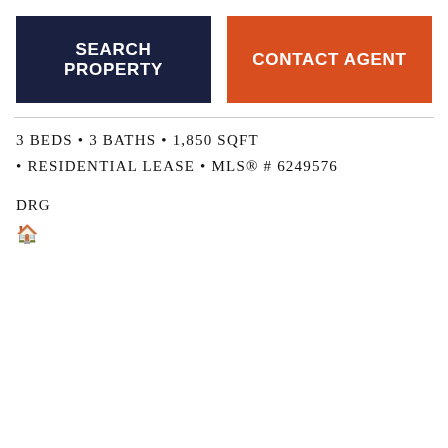[Figure (other): Two buttons side by side: 'SEARCH PROPERTY' on dark navy background and 'CONTACT AGENT' on orange-red background]
3 BEDS • 3 BATHS • 1,850 SQFT • RESIDENTIAL LEASE • MLS® # 6249576
DRG
[Figure (other): Small house icon logo]